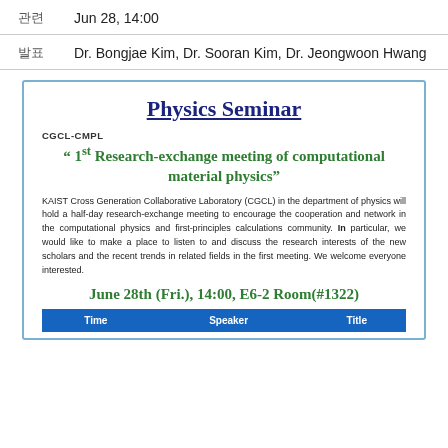Jun 28, 14:00
Dr. Bongjae Kim, Dr. Sooran Kim, Dr. Jeongwoon Hwang
Physics Seminar
CGCL-CMPL
" 1st Research-exchange meeting of computational material physics"
KAIST Cross Generation Collaborative Laboratory (CGCL) in the department of physics will hold a half-day research-exchange meeting to encourage the cooperation and network in the computational physics and first-principles calculations community. In particular, we would like to make a place to listen to and discuss the research interests of the new scholars and the recent trends in related fields in the first meeting. We welcome everyone interested.
June 28th (Fri.), 14:00, E6-2 Room(#1322)
| Time | Speaker | Title |
| --- | --- | --- |